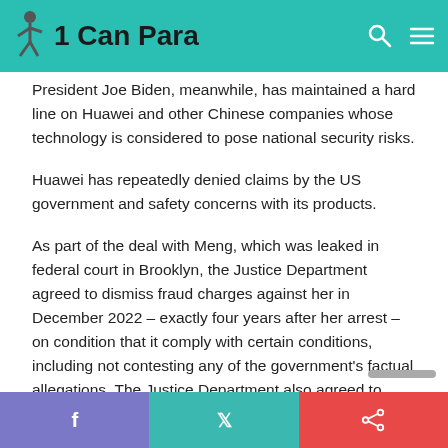1 Can Para
President Joe Biden, meanwhile, has maintained a hard line on Huawei and other Chinese companies whose technology is considered to pose national security risks.
Huawei has repeatedly denied claims by the US government and safety concerns with its products.
As part of the deal with Meng, which was leaked in federal court in Brooklyn, the Justice Department agreed to dismiss fraud charges against her in December 2022 – exactly four years after her arrest – on condition that it comply with certain conditions, including not contesting any of the government's factual allegations. The Justice Department also agreed to drop her request for Meng's extradition to the United States, which she had vigorously contested, ending a process that prosecutors say could have persisted for months.